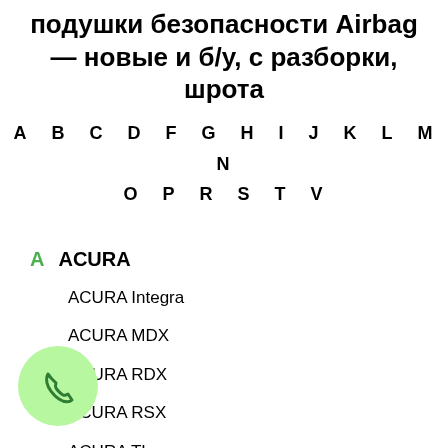подушки безопасности Airbag — новые и б/у, с разборки, шрота
A B C D F G H I J K L M N O P R S T V
A ACURA
ACURA Integra
ACURA MDX
ACURA RDX
ACURA RSX
ACURA TL
ACURA TLX